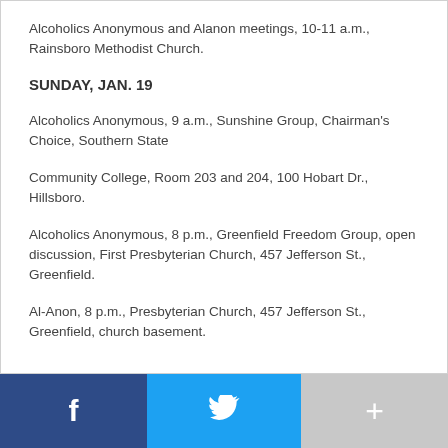Alcoholics Anonymous and Alanon meetings, 10-11 a.m., Rainsboro Methodist Church.
SUNDAY, JAN. 19
Alcoholics Anonymous, 9 a.m., Sunshine Group, Chairman's Choice, Southern State
Community College, Room 203 and 204, 100 Hobart Dr., Hillsboro.
Alcoholics Anonymous, 8 p.m., Greenfield Freedom Group, open discussion, First Presbyterian Church, 457 Jefferson St., Greenfield.
Al-Anon, 8 p.m., Presbyterian Church, 457 Jefferson St., Greenfield, church basement.
[Figure (other): Social media sharing bar with Facebook, Twitter, and a plus/more button]